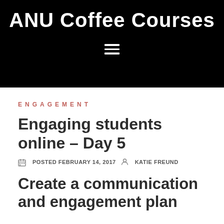ANU Coffee Courses
ENGAGEMENT
Engaging students online – Day 5
POSTED FEBRUARY 14, 2017  KATIE FREUND
Create a communication and engagement plan